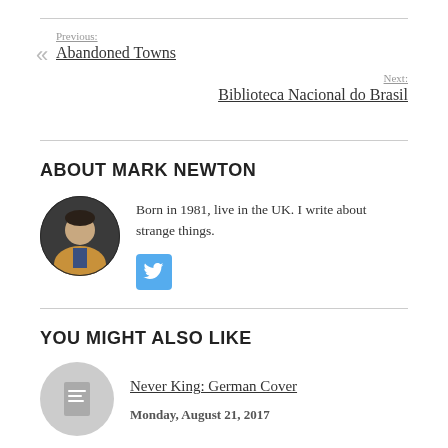Previous: Abandoned Towns
Next: Biblioteca Nacional do Brasil
ABOUT MARK NEWTON
[Figure (photo): Circular avatar photo of Mark Newton, a man in a brown jacket standing in front of a green door]
Born in 1981, live in the UK. I write about strange things.
[Figure (other): Twitter social media button icon (blue square with bird)]
YOU MIGHT ALSO LIKE
[Figure (other): Circular grey placeholder thumbnail with document icon]
Never King: German Cover
Monday, August 21, 2017